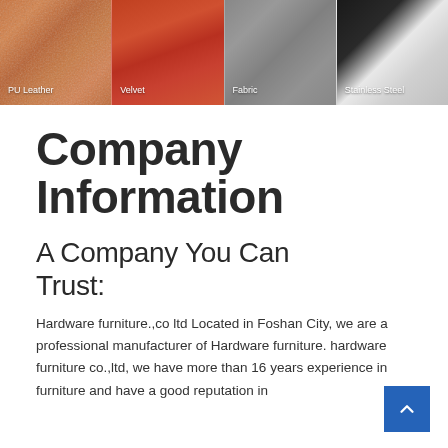[Figure (photo): Four-panel material banner showing PU Leather (orange/tan), Velvet (red/orange), Fabric (gray knit), and Stainless Steel (white rolls) with labels at bottom of each panel]
Company Information
A Company You Can Trust:
Hardware furniture.,co ltd Located in Foshan City, we are a professional manufacturer of Hardware furniture. hardware furniture co.,ltd, we have more than 16 years experience in furniture and have a good reputation in